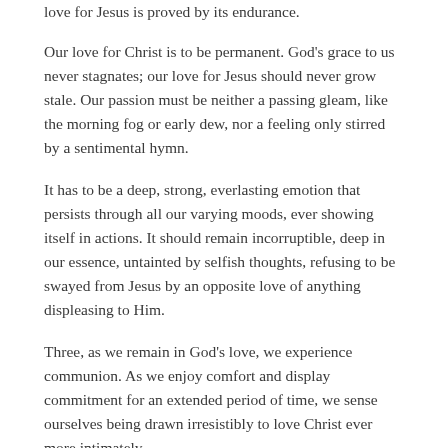love for Jesus is proved by its endurance.
Our love for Christ is to be permanent. God's grace to us never stagnates; our love for Jesus should never grow stale. Our passion must be neither a passing gleam, like the morning fog or early dew, nor a feeling only stirred by a sentimental hymn.
It has to be a deep, strong, everlasting emotion that persists through all our varying moods, ever showing itself in actions. It should remain incorruptible, deep in our essence, untainted by selfish thoughts, refusing to be swayed from Jesus by an opposite love of anything displeasing to Him.
Three, as we remain in God's love, we experience communion. As we enjoy comfort and display commitment for an extended period of time, we sense ourselves being drawn irresistibly to love Christ ever more intimately.